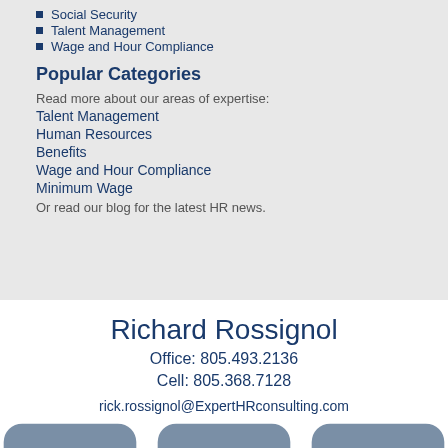Social Security
Talent Management
Wage and Hour Compliance
Popular Categories
Read more about our areas of expertise:
Talent Management
Human Resources
Benefits
Wage and Hour Compliance
Minimum Wage
Or read our blog for the latest HR news.
Richard Rossignol
Office: 805.493.2136
Cell: 805.368.7128
rick.rossignol@ExpertHRconsulting.com
[Figure (illustration): Social media icons: LinkedIn, Facebook, Twitter]